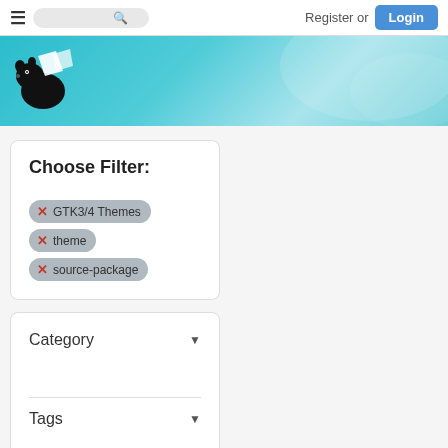Register or Login
[Figure (illustration): Website header banner with teal/cyan gradient background and a black mouse mascot logo in the upper left corner]
Choose Filter:
GTK3/4 Themes (active filter tag)
theme (active filter tag)
source-package (active filter tag)
Category (dropdown)
Tags (dropdown)